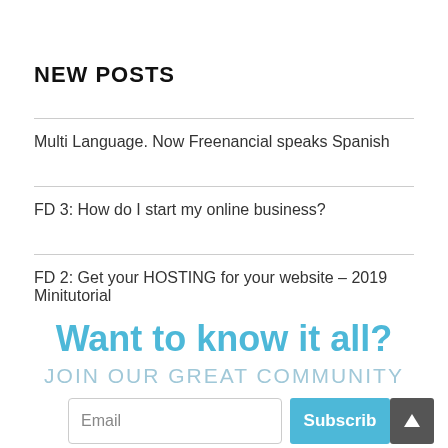NEW POSTS
Multi Language. Now Freenancial speaks Spanish
FD 3: How do I start my online business?
FD 2: Get your HOSTING for your website – 2019 Minitutorial
Want to know it all?
JOIN OUR GREAT COMMUNITY
Email
Subscribe